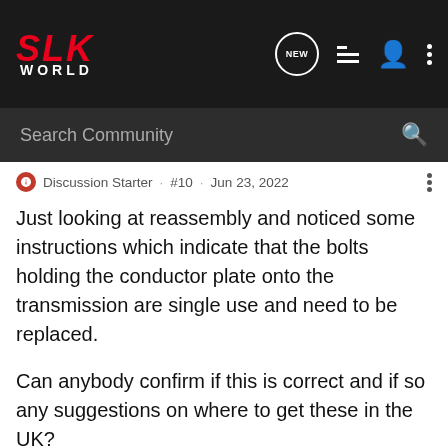SLK WORLD — Search Community
Discussion Starter · #10 · Jun 23, 2022
Just looking at reassembly and noticed some instructions which indicate that the bolts holding the conductor plate onto the transmission are single use and need to be replaced.

Can anybody confirm if this is correct and if so any suggestions on where to get these in the UK?
Terminal · *Registered 🇬🇧
2005 SLK55 AMG
Joined May 11, 2015 · 1,948 Posts